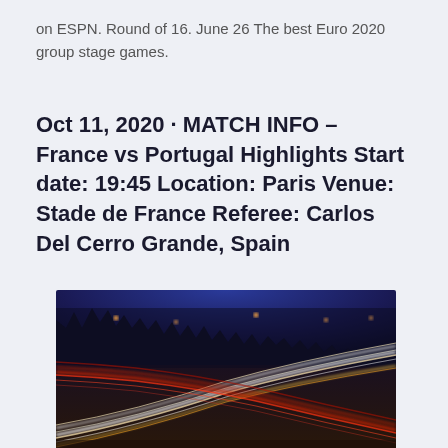on ESPN. Round of 16. June 26 The best Euro 2020 group stage games.
Oct 11, 2020 · MATCH INFO - France vs Portugal Highlights Start date: 19:45 Location: Paris Venue: Stade de France Referee: Carlos Del Cerro Grande, Spain
[Figure (photo): Long-exposure night photo of a curved highway with streaking white and red light trails from vehicles, dark tree silhouettes and night sky in the background]